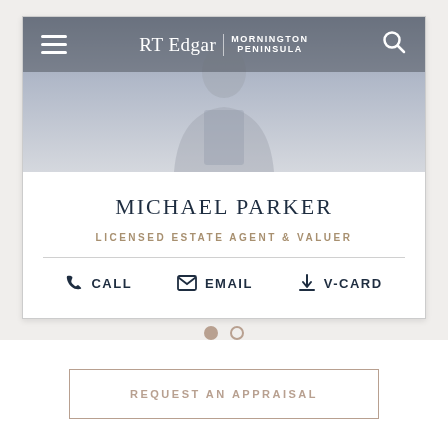[Figure (screenshot): RT Edgar Mornington Peninsula real estate agent profile page for Michael Parker. Shows navigation bar with hamburger menu and search icon, agent photo area, name, title, and contact options.]
MICHAEL PARKER
LICENSED ESTATE AGENT & VALUER
CALL   EMAIL   V-CARD
REQUEST AN APPRAISAL